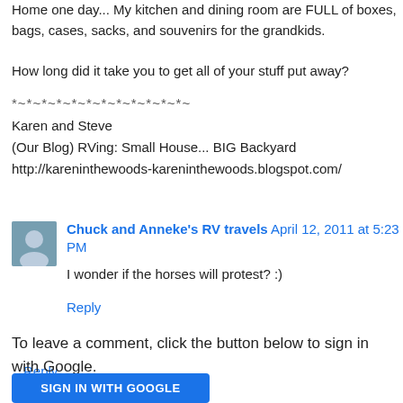Home one day... My kitchen and dining room are FULL of boxes, bags, cases, sacks, and souvenirs for the grandkids.
How long did it take you to get all of your stuff put away?
*~*~*~*~*~*~*~*~*~*~*~*~
Karen and Steve
(Our Blog) RVing: Small House... BIG Backyard
http://kareninthewoods-kareninthewoods.blogspot.com/
Reply
Chuck and Anneke's RV travels  April 12, 2011 at 5:23 PM
I wonder if the horses will protest? :)
Reply
To leave a comment, click the button below to sign in with Google.
SIGN IN WITH GOOGLE